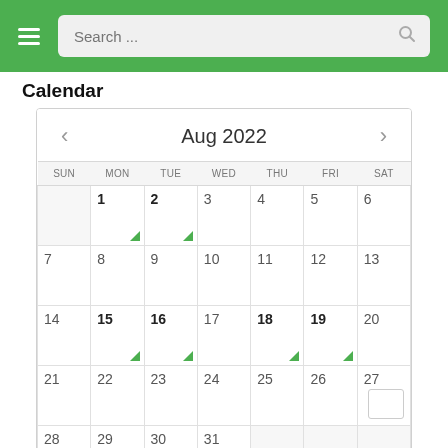[Figure (screenshot): Green navigation header bar with hamburger menu icon and search box]
Calendar
[Figure (other): Calendar widget showing August 2022. Days with green triangle indicators: 1, 2, 15, 16, 18, 19. Navigation arrows on left and right of month header. Days of week: SUN MON TUE WED THU FRI SAT.]